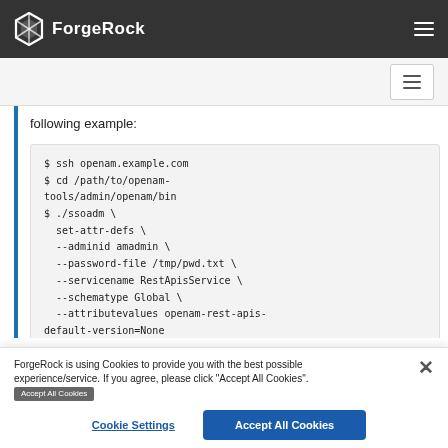ForgeRock
following example:
$ ssh openam.example.com
$ cd /path/to/openam-tools/admin/openam/bin
$ ./ssoadm \
  set-attr-defs \
  --adminid amadmin \
  --password-file /tmp/pwd.txt \
  --servicename RestApisService \
  --schematype Global \
  --attributevalues openam-rest-apis-default-version=None
Schema attribute defaults were set
ForgeRock is using Cookies to provide you with the best possible experience/service. If you agree, please click "Accept All Cookies". [Accept All Cookies]
Cookie Settings
Accept All Cookies